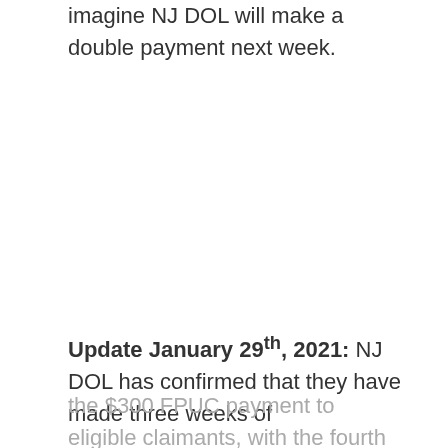imagine NJ DOL will make a double payment next week.
Update January 29th, 2021: NJ DOL has confirmed that they have made three weeks of the $300 FPUC payment to eligible claimants, with the fourth payment coming next week